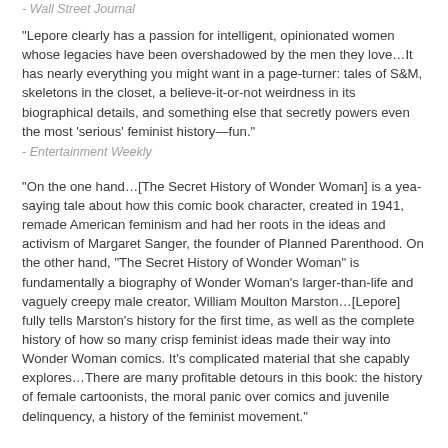- Wall Street Journal
“Lepore clearly has a passion for intelligent, opinionated women whose legacies have been overshadowed by the men they love…It has nearly everything you might want in a page-turner: tales of S&M, skeletons in the closet, a believe-it-or-not weirdness in its biographical details, and something else that secretly powers even the most ‘serious’ feminist history—fun.”
- Entertainment Weekly
“On the one hand…[The Secret History of Wonder Woman] is a yea-saying tale about how this comic book character, created in 1941, remade American feminism and had her roots in the ideas and activism of Margaret Sanger, the founder of Planned Parenthood. On the other hand, “The Secret History of Wonder Woman” is fundamentally a biography of Wonder Woman’s larger-than-life and vaguely creepy male creator, William Moulton Marston…[Lepore] fully tells Marston’s history for the first time, as well as the complete history of how so many crisp feminist ideas made their way into Wonder Woman comics. It’s complicated material that she capably explores…There are many profitable detours in this book: the history of female cartoonists, the moral panic over comics and juvenile delinquency, a history of the feminist movement.”